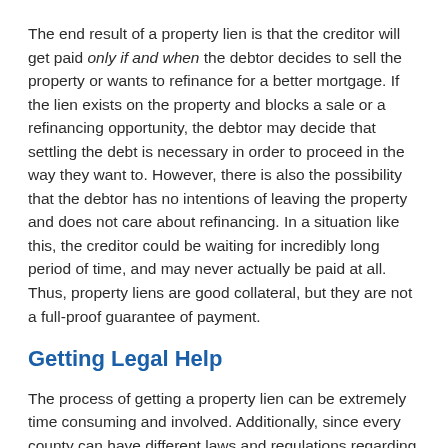The end result of a property lien is that the creditor will get paid only if and when the debtor decides to sell the property or wants to refinance for a better mortgage. If the lien exists on the property and blocks a sale or a refinancing opportunity, the debtor may decide that settling the debt is necessary in order to proceed in the way they want to. However, there is also the possibility that the debtor has no intentions of leaving the property and does not care about refinancing. In a situation like this, the creditor could be waiting for incredibly long period of time, and may never actually be paid at all. Thus, property liens are good collateral, but they are not a full-proof guarantee of payment.
Getting Legal Help
The process of getting a property lien can be extremely time consuming and involved. Additionally, since every county can have different laws and regulations regarding property